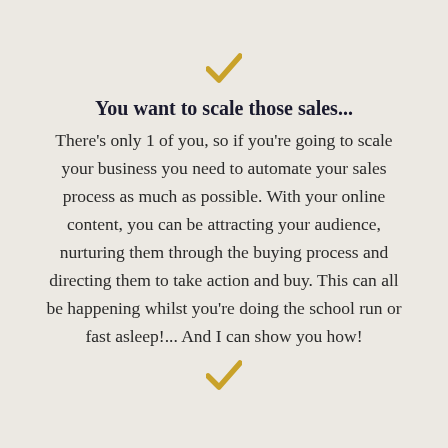[Figure (illustration): Gold/amber checkmark icon at top center]
You want to scale those sales...
There's only 1 of you, so if you're going to scale your business you need to automate your sales process as much as possible. With your online content, you can be attracting your audience, nurturing them through the buying process and directing them to take action and buy. This can all be happening whilst you're doing the school run or fast asleep!... And I can show you how!
[Figure (illustration): Gold/amber checkmark icon at bottom center]